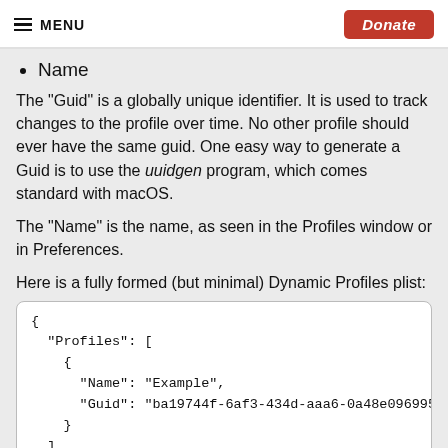MENU  Donate
Name
The "Guid" is a globally unique identifier. It is used to track changes to the profile over time. No other profile should ever have the same guid. One easy way to generate a Guid is to use the uuidgen program, which comes standard with macOS.
The "Name" is the name, as seen in the Profiles window or in Preferences.
Here is a fully formed (but minimal) Dynamic Profiles plist:
[Figure (screenshot): Code block showing a JSON/plist structure with Profiles array containing Name and Guid fields. Content: { "Profiles": [ { "Name": "Example", "Guid": "ba19744f-6af3-434d-aaa6-0a48e0969958" } ] }]